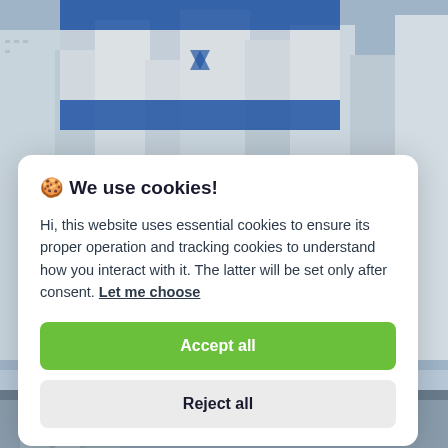[Figure (photo): Background photo of an Israeli flag waving in front of a city skyline with tall buildings, partially visible at top and bottom edges of the page behind the cookie consent modal.]
🍪 We use cookies!
Hi, this website uses essential cookies to ensure its proper operation and tracking cookies to understand how you interact with it. The latter will be set only after consent. Let me choose